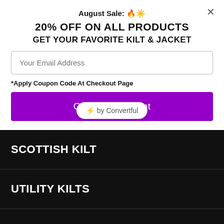August Sale: 🔥☀️
20% OFF ON ALL PRODUCTS
GET YOUR FAVORITE KILT & JACKET
Your Email Address
*Apply Coupon Code At Checkout Page
Give Me Discount
[Figure (screenshot): Convertful badge with lightning bolt emoji and text 'by Convertful']
SCOTTISH KILT
UTILITY KILTS
GOTHIC KILTS
HYBRID KILTS
DENIM KILTS